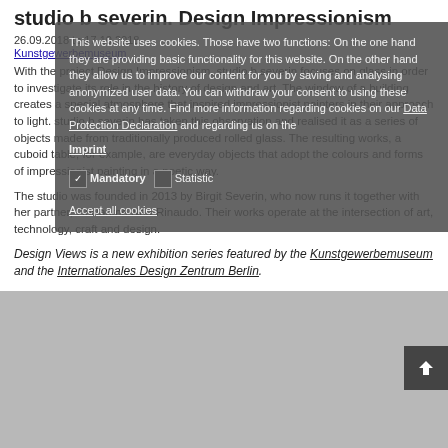studio b severin. Design Impressionism
26.09.2018 to 17.10.2018
Kunstgewerbemuseum
With the project Design Impressionism, studio b severin focuses on glass in order to investigate its role in the history of design and art. The window of a building creates a special atmosphere that inspired impressionist painters in their approach to light. studio b severin has taken this observation and realised it as a series of objects made from traditionally produced rolled glass. The resulting works, a cuboid table, for example, are everyday objects that adopt the colours and forms of impressionist painting in a poetic way.
The studio was founded in 2013 by Birgit Severin, who now runs it together with her partner, Guillaume Neu-Rinaudo. Their works operate at the intersection of art, technology, craft and design.
Design Views is a new exhibition series featured by the Kunstgewerbemuseum and the Internationales Design Zentrum Berlin.
[Figure (other): Cookie consent overlay on webpage with mandatory/statistic checkboxes and accept all cookies button]